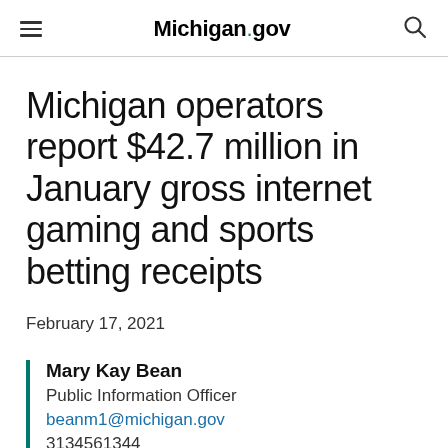Michigan.gov
Michigan operators report $42.7 million in January gross internet gaming and sports betting receipts
February 17, 2021
Mary Kay Bean
Public Information Officer
beanm1@michigan.gov
3134561344